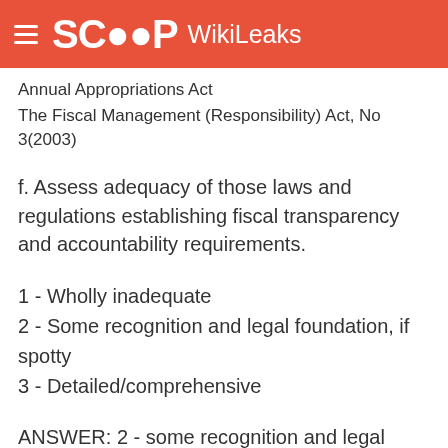SCOOP WikiLeaks
Annual Appropriations Act
The Fiscal Management (Responsibility) Act, No 3(2003)
f. Assess adequacy of those laws and regulations establishing fiscal transparency and accountability requirements.
1 - Wholly inadequate
2 - Some recognition and legal foundation, if spotty
3 - Detailed/comprehensive
ANSWER: 2 - some recognition and legal foundation, if spotty